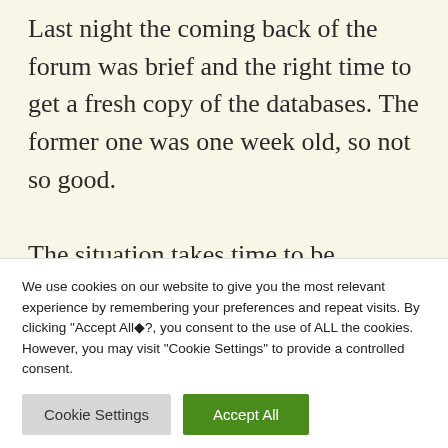Last night the coming back of the forum was brief and the right time to get a fresh copy of the databases. The former one was one week old, so not so good.

The situation takes time to be
We use cookies on our website to give you the most relevant experience by remembering your preferences and repeat visits. By clicking "Accept All�?, you consent to the use of ALL the cookies. However, you may visit "Cookie Settings" to provide a controlled consent.